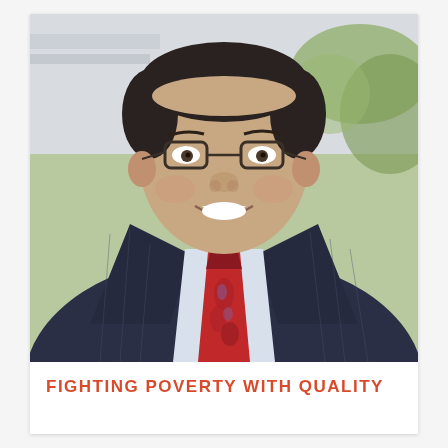[Figure (photo): Professional headshot of a middle-aged man wearing glasses, a dark navy pinstripe suit, light blue dress shirt, and a red paisley tie. He is smiling. The background shows an outdoor setting with blurred greenery.]
FIGHTING POVERTY WITH QUALITY